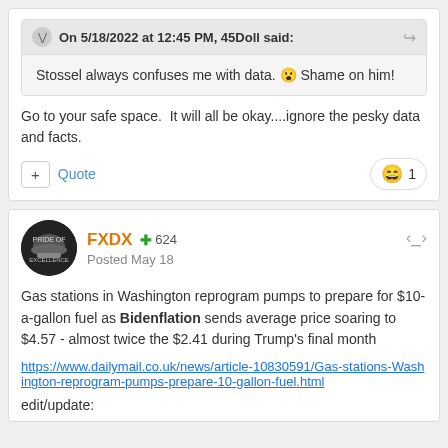On 5/18/2022 at 12:45 PM, 45Doll said:
Stossel always confuses me with data. 😮 Shame on him!
Go to your safe space.  It will all be okay....ignore the pesky data and facts.
FXDX  +624  Posted May 18
Gas stations in Washington reprogram pumps to prepare for $10-a-gallon fuel as Bidenflation sends average price soaring to $4.57 - almost twice the $2.41 during Trump's final month
https://www.dailymail.co.uk/news/article-10830591/Gas-stations-Washington-reprogram-pumps-prepare-10-gallon-fuel.html
edit/update: